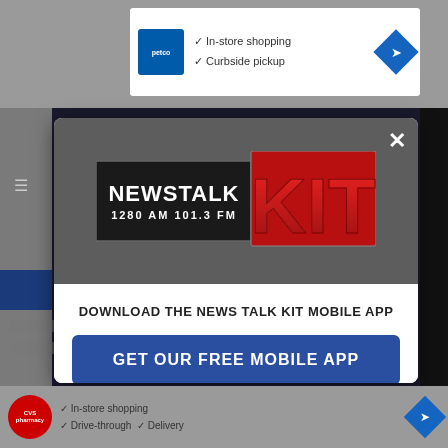[Figure (screenshot): Mobile app download modal popup for NewsTalk KIT 1280 AM 101.3 FM radio station, shown over a blurred website background with Petco and CVS pharmacy ads]
DOWNLOAD THE NEWS TALK KIT MOBILE APP
GET OUR FREE MOBILE APP
Also listen on: amazon alexa